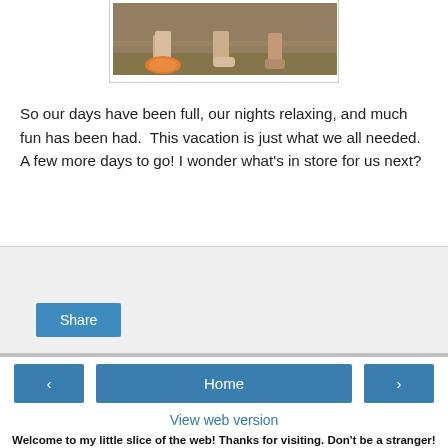[Figure (photo): Cropped photo showing feet and shoes of children sitting outdoors on hay/ground]
So our days have been full, our nights relaxing, and much fun has been had.  This vacation is just what we all needed.  A few more days to go! I wonder what's in store for us next?
[Figure (other): Share button area with light gray background and a blue Share button]
[Figure (other): Navigation bar with left arrow button, Home button, and right arrow button]
View web version
Welcome to my little slice of the web! Thanks for visiting. Don't be a stranger!
[Figure (photo): Profile photo of Mel, a woman with curly brown hair and glasses]
Mel
View my complete profile